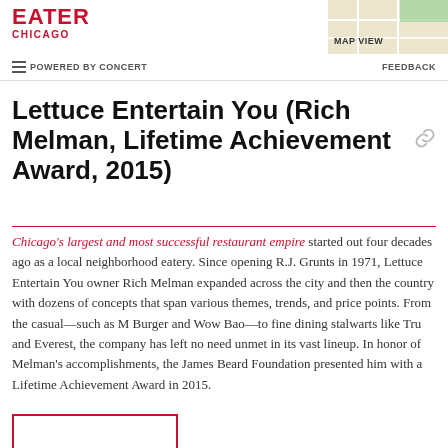EATER CHICAGO — MAP VIEW | POWERED BY CONCERT — FEEDBACK
Lettuce Entertain You (Rich Melman, Lifetime Achievement Award, 2015)
Chicago's largest and most successful restaurant empire started out four decades ago as a local neighborhood eatery. Since opening R.J. Grunts in 1971, Lettuce Entertain You owner Rich Melman expanded across the city and then the country with dozens of concepts that span various themes, trends, and price points. From the casual—such as M Burger and Wow Bao—to fine dining stalwarts like Tru and Everest, the company has left no need unmet in its vast lineup. In honor of Melman's accomplishments, the James Beard Foundation presented him with a Lifetime Achievement Award in 2015.